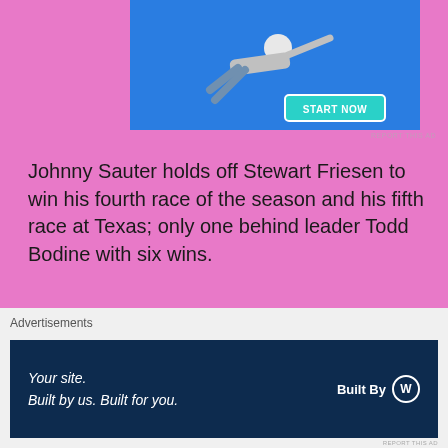[Figure (photo): Advertisement banner with a person diving/reaching horizontally against a blue background, with a 'START NOW' button]
Johnny Sauter holds off Stewart Friesen to win his fourth race of the season and his fifth race at Texas; only one behind leader Todd Bodine with six wins.
The unoffcial results of the Rattlesnake 400:
Johnny Sauter
Stewart Friesen
Justin Haley
Advertisements
[Figure (screenshot): WordPress advertisement: 'Your site. Built by us. Built for you.' with Built By WordPress logo on dark navy background]